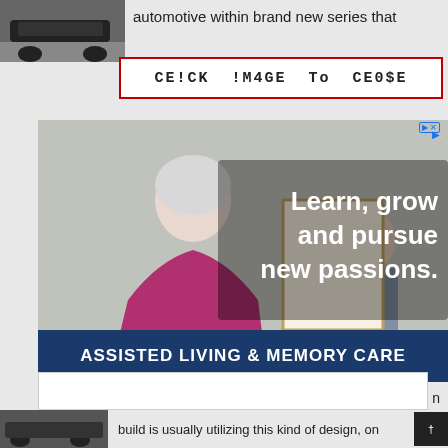automotive within brand new series that
CE!CK !M4GE To CE0$E
use
[Figure (photo): Advertisement for Tribute at One Loudoun assisted living and memory care. Shows elderly woman in magenta top painting at an easel with younger people in background. Text overlay: Learn, grow and pursue new passions. Blue banner: ASSISTED LIVING & MEMORY CARE. White section: Explore our senior living care options. Schedule a Tour button. Tribute at One Loudoun logo.]
build is usually utilizing this kind of design, on